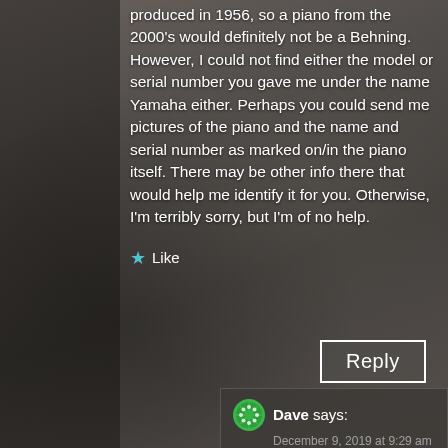produced in 1956, so a piano from the 2000's would definitely not be a Behning. However, I could not find either the model or serial number you gave me under the name Yamaha either. Perhaps you could send me pictures of the piano and the name and serial number as marked on/in the piano itself. There may be other info there that would help me identify it for you. Otherwise, I'm terribly sorry, but I'm of no help.
Like
Reply
Dave says:
December 9, 2019 at 9:29 am